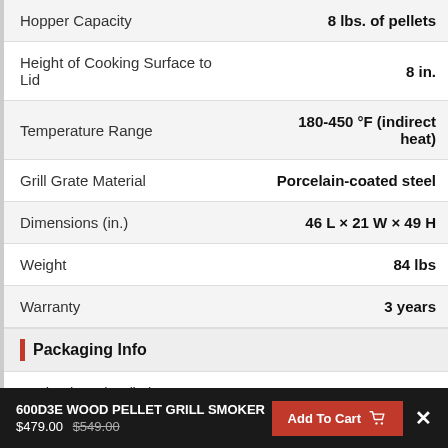| Spec | Value |
| --- | --- |
| Hopper Capacity | 8 lbs. of pellets |
| Height of Cooking Surface to Lid | 8 in. |
| Temperature Range | 180-450 °F (indirect heat) |
| Grill Grate Material | Porcelain-coated steel |
| Dimensions (in.) | 46 L × 21 W × 49 H |
| Weight | 84 lbs |
| Warranty | 3 years |
Packaging Info
| Spec | Value |
| --- | --- |
| Packaging Size (in.) | 27 L × 21 W × 25 H |
| Packaging Weight | 103 lbs |
600D3E WOOD PELLET GRILL SMOKER $479.00 $549.00 Add To Cart ×